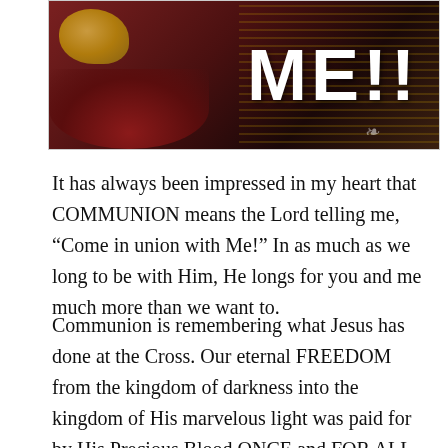[Figure (photo): Partial image showing communion bread on a dark red plate/cup background, with large white text reading 'ME!!' overlaid on a striped dark background on the right side of the image.]
It has always been impressed in my heart that COMMUNION means the Lord telling me, “Come in union with Me!”  In as much as we long to be with Him, He longs for you and me much more than we want to.
Communion is remembering what Jesus has done at the Cross.  Our eternal FREEDOM from the kingdom of darkness into the kingdom of His marvelous light was paid for by His Precious Blood ONCE and FOR ALL.  What He has done, no one can reverse it and eventually NO ONE CAN DENY IT.